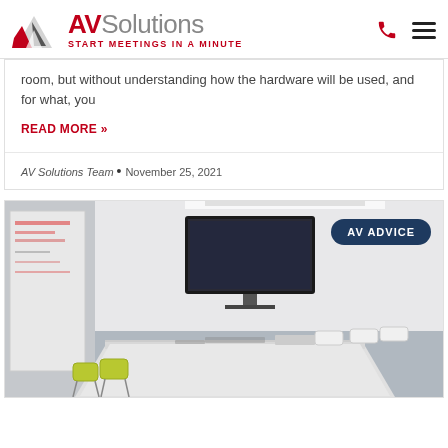[Figure (logo): AV Solutions logo with red and grey triangular icon, company name and tagline START MEETINGS IN A MINUTE]
room, but without understanding how the hardware will be used, and for what, you
READ MORE »
AV Solutions Team  •  November 25, 2021
[Figure (photo): Conference room with a long white table, white chairs, yellow-green guest chairs, wall-mounted TV screen, and whiteboard on the left wall. AV ADVICE badge in top right corner.]